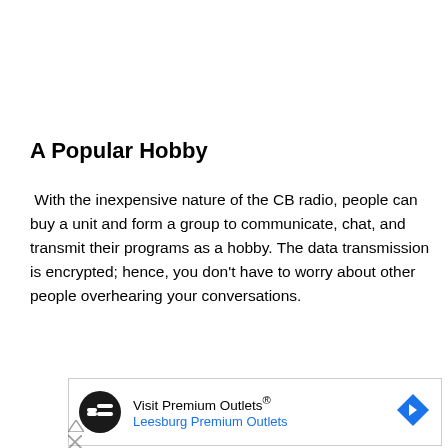A Popular Hobby
With the inexpensive nature of the CB radio, people can buy a unit and form a group to communicate, chat, and transmit their programs as a hobby. The data transmission is encrypted; hence, you don't have to worry about other people overhearing your conversations.
[Figure (other): Advertisement banner for Visit Premium Outlets / Leesburg Premium Outlets with logo, text, and directional arrow icon]